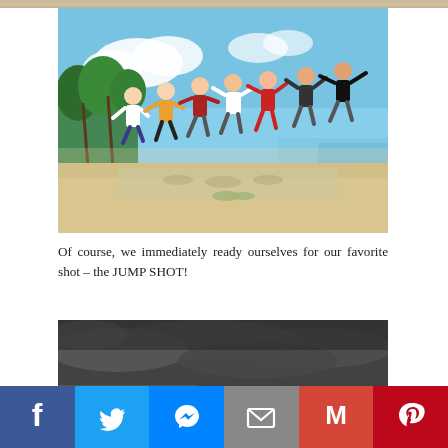[Figure (photo): Partial top strip of a previous photo, showing sandy/beach colors]
[Figure (photo): Group of people doing a jump shot on a sandbar beach with blue sky and palm trees in background. People are jumping in the air with arms raised.]
Of course, we immediately ready ourselves for our favorite shot – the JUMP SHOT!
[Figure (photo): Partial view of a dark cloudy sky over a beach/ocean scene]
Facebook Twitter Messenger Email Gmail Pinterest social share bar